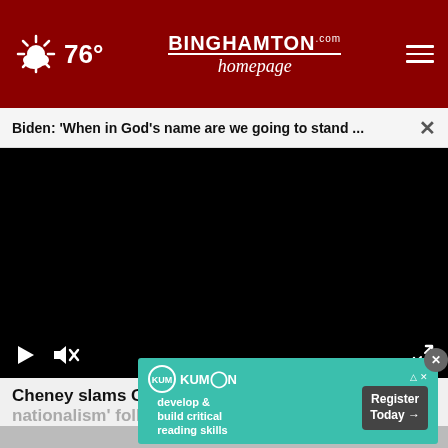76° Binghamton Homepage
Biden: 'When in God's name are we going to stand ...
[Figure (screenshot): Black video player area with play button, mute button, and fullscreen button controls]
Cheney slams GOP leadership for enabling 'white nationalism' following Buffalo shooting
[Figure (other): Kumon advertisement: develop & build critical reading skills - Register Today]